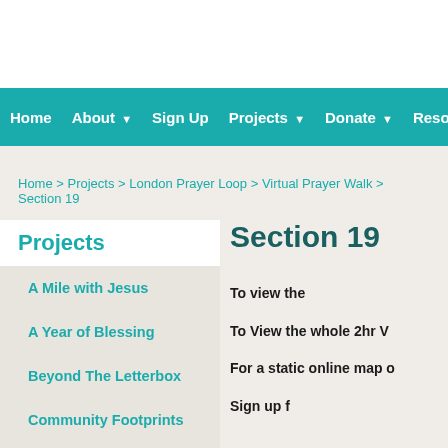Home  About ▼  Sign Up  Projects ▼  Donate ▼  Resources
Home > Projects > London Prayer Loop > Virtual Prayer Walk > Section 19
Projects
Section 19
A Mile with Jesus
A Year of Blessing
Beyond The Letterbox
Community Footprints
Dedicate the Year
To view the
To View the whole 2hr V
For a static online map o
Sign up f